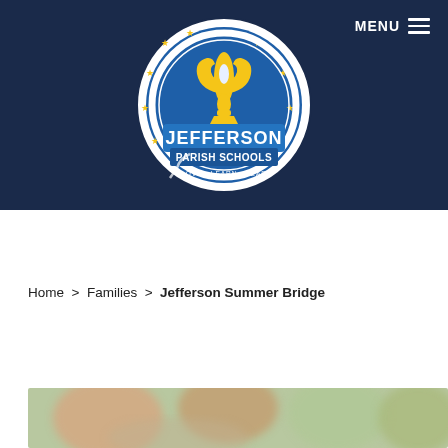[Figure (logo): Jefferson Parish Schools logo — circular badge with fleur-de-lis, text JEFFERSON PARISH SCHOOLS, LOVE - LEARN - LEAD on dark blue background]
MENU ☰
Home  >  Families  >  Jefferson Summer Bridge
[Figure (photo): Blurred photo of children/students, partially visible at bottom of page]